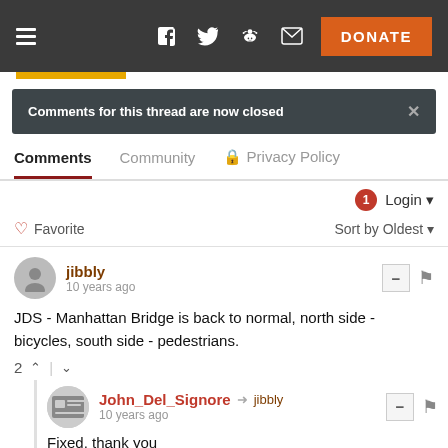Navigation bar with hamburger menu, social icons (Facebook, Twitter, Reddit, Email), and DONATE button
Comments for this thread are now closed
Comments  Community  Privacy Policy
1  Login
Favorite   Sort by Oldest
jibbly
10 years ago
JDS - Manhattan Bridge is back to normal, north side - bicycles, south side - pedestrians.
2
John_Del_Signore → jibbly
10 years ago
Fixed, thank you